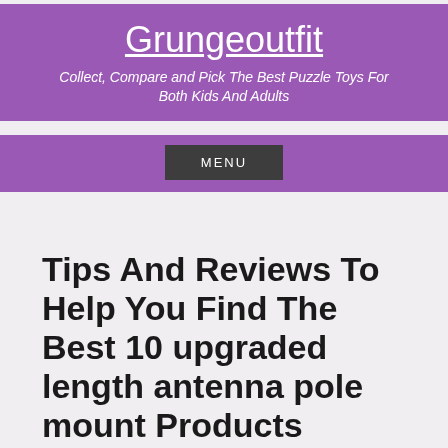Grungeoutfit
Collect, Compare and Pick The Best Puzzle Toys For Both Kids And Adults
MENU
Tips And Reviews To Help You Find The Best 10 upgraded length antenna pole mount Products
So you are looking for the top 10 upgraded length antenna pole mount products? Well, look no further! I have compiled a list of the best upgraded length antenna pole mount products